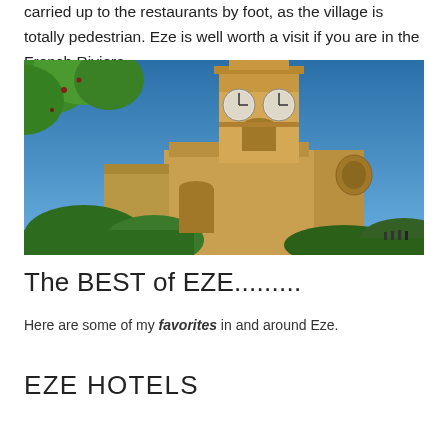carried up to the restaurants by foot, as the village is totally pedestrian. Eze is well worth a visit if you are in the French Riviera.
[Figure (photo): A yellow church or chapel building with a clock tower against a clear blue sky, partially framed by green tree branches in the foreground. The building appears to be in the village of Eze, France.]
The BEST of EZE.........
Here are some of my favorites in and around Eze.
EZE HOTELS